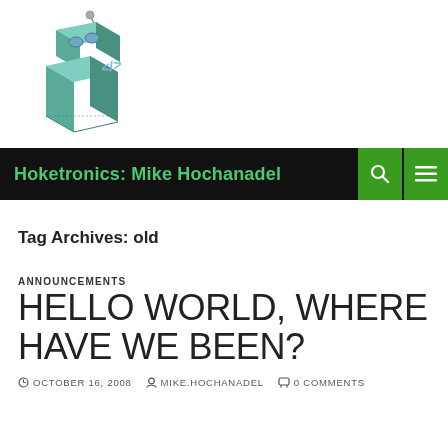[Figure (logo): Hoketronics robot logo — an isometric robot box with teal/green body, blue goggles, antenna, and code symbol on front]
Hoketronics: Mike Hochanadel
Tag Archives: old
ANNOUNCEMENTS
HELLO WORLD, WHERE HAVE WE BEEN?
OCTOBER 16, 2008   MIKE.HOCHANADEL   0 COMMENTS